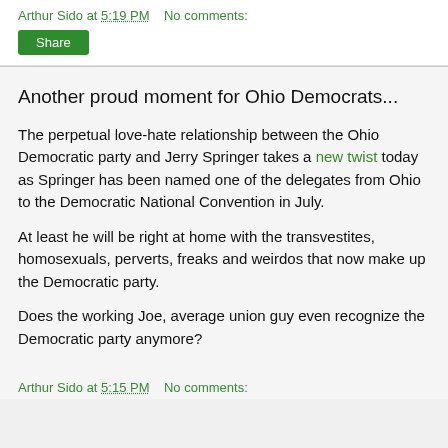Arthur Sido at 5:19 PM    No comments:
Another proud moment for Ohio Democrats...
The perpetual love-hate relationship between the Ohio Democratic party and Jerry Springer takes a new twist today as Springer has been named one of the delegates from Ohio to the Democratic National Convention in July.
At least he will be right at home with the transvestites, homosexuals, perverts, freaks and weirdos that now make up the Democratic party.
Does the working Joe, average union guy even recognize the Democratic party anymore?
Arthur Sido at 5:15 PM    No comments: